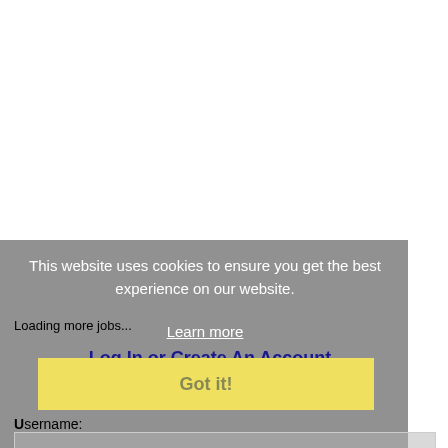Loading more jobs...
This website uses cookies to ensure you get the best experience on our website.
Learn more
Log In or Create An Account
Got it!
Username: